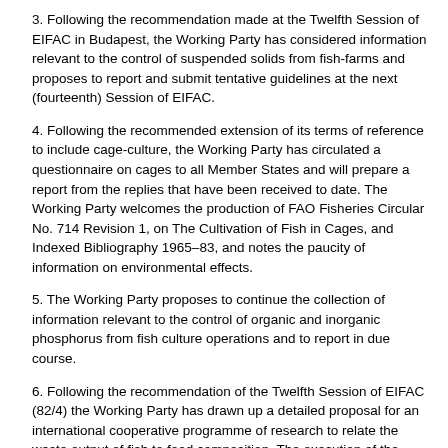3. Following the recommendation made at the Twelfth Session of EIFAC in Budapest, the Working Party has considered information relevant to the control of suspended solids from fish-farms and proposes to report and submit tentative guidelines at the next (fourteenth) Session of EIFAC.
4. Following the recommended extension of its terms of reference to include cage-culture, the Working Party has circulated a questionnaire on cages to all Member States and will prepare a report from the replies that have been received to date. The Working Party welcomes the production of FAO Fisheries Circular No. 714 Revision 1, on The Cultivation of Fish in Cages, and Indexed Bibliography 1965–83, and notes the paucity of information on environmental effects.
5. The Working Party proposes to continue the collection of information relevant to the control of organic and inorganic phosphorus from fish culture operations and to report in due course.
6. Following the recommendation of the Twelfth Session of EIFAC (82/4) the Working Party has drawn up a detailed proposal for an international cooperative programme of research to relate the waste output of fish to food composition. The execution of the programme will depend on the extent to which funding can be secured from the EEC and other international bodies. The Working Party recommends that such funding be pursued by the EIFAC Secretariat.